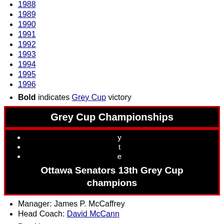1988
1989
1990
1991
1992
1993
1994
1995
1996
Bold indicates Grey Cup victory
Grey Cup Championships
Ottawa Senators 13th Grey Cup champions
Manager: James P. McCaffrey
Head Coach: David McCann
Don Young
Joe Miller